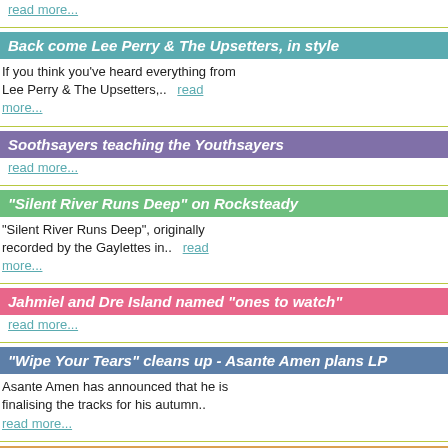read more...
Back come Lee Perry & The Upsetters, in style
If you think you've heard everything from Lee Perry & The Upsetters,..  read more...
Soothsayers teaching the Youthsayers
read more...
"Silent River Runs Deep" on Rocksteady
"Silent River Runs Deep", originally recorded by the Gaylettes in..  read more...
Jahmiel and Dre Island named "ones to watch"
read more...
"Wipe Your Tears" cleans up - Asante Amen plans LP
Asante Amen has announced that he is finalising the tracks for his autumn.. read more...
Daraiah releases "The Time Is Now"